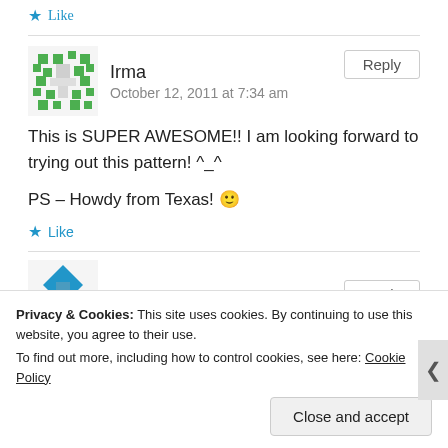★ Like
Irma
October 12, 2011 at 7:34 am
Reply
This is SUPER AWESOME!! I am looking forward to trying out this pattern! ^_^
PS – Howdy from Texas! 🙂
★ Like
J
Reply
Privacy & Cookies: This site uses cookies. By continuing to use this website, you agree to their use.
To find out more, including how to control cookies, see here: Cookie Policy
Close and accept